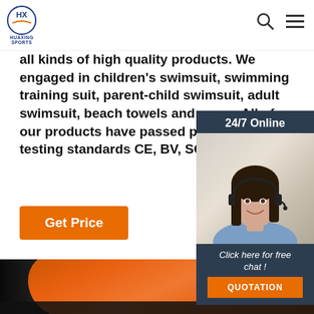HUAXING SPORTS — Logo and navigation header with search and menu icons
all kinds of high quality products. We engaged in children's swimsuit, swimming training suit, parent-child swimsuit, adult swimsuit, beach towels and so on. All of our products have passed professional testing standards CE, BV, SGS and can ...
[Figure (other): Get Price orange button]
[Figure (photo): 24/7 Online customer service widget showing a woman with headset. Includes 'Click here for free chat!' text and QUOTATION orange button.]
[Figure (photo): Close-up photo of orange and black swimsuit/sportswear fabric texture. TOP label in orange at bottom right.]